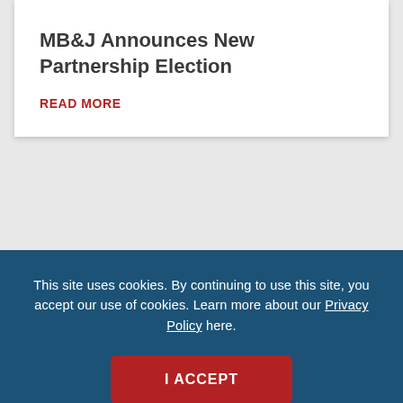MB&J Announces New Partnership Election
READ MORE
May 9, 2005
This site uses cookies. By continuing to use this site, you accept our use of cookies. Learn more about our Privacy Policy here.
I ACCEPT